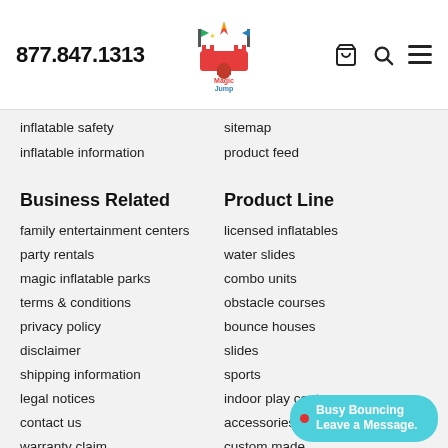877.847.1313 | Magic Jump Inflatables logo | Cart, Search, Menu icons
inflatable safety
inflatable information
sitemap
product feed
Business Related
Product Line
family entertainment centers
party rentals
magic inflatable parks
terms & conditions
privacy policy
disclaimer
shipping information
legal notices
contact us
warranty claim
report knock-offs
licensed inflatables
water slides
combo units
obstacle courses
bounce houses
slides
sports
indoor play center
accessories
custom made
new products